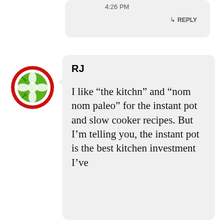4:26 PM
REPLY
[Figure (logo): Round avatar icon with red border circle and green diamond/cross pattern in center on white background]
RJ
I like “the kitchn” and “nom nom paleo” for the instant pot and slow cooker recipes. But I’m telling you, the instant pot is the best kitchen investment I’ve